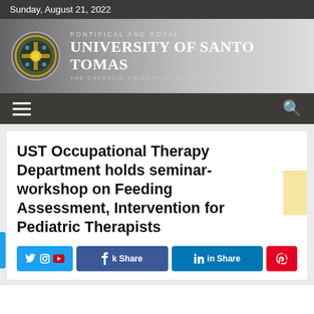Sunday, August 21, 2022
[Figure (logo): University of Santo Tomas logo and banner with circular crest, text 'PONTIFICAL AND ROYAL', 'UNIVERSITY OF SANTO TOMAS', 'THE CATHOLIC UNIVERSITY OF THE PHILIPPINES']
UST Occupational Therapy Department holds seminar-workshop on Feeding Assessment, Intervention for Pediatric Therapists